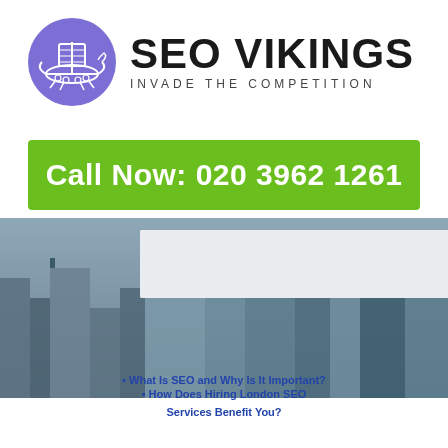[Figure (logo): SEO Vikings logo: purple circle with Viking ship illustration, next to bold text 'SEO VIKINGS' and tagline 'INVADE THE COMPETITION']
Call Now: 020 3962 1261
[Figure (photo): Aerial photograph of a London cityscape with buildings and rooftops, overlaid with a white message input box and a green 'Send Message' button]
• What Is SEO and Why Is It Important?
• How Does Hiring London SEO Services Benefit You?